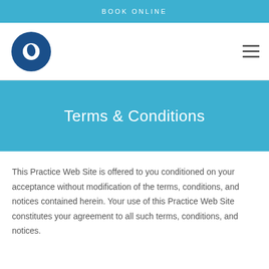BOOK ONLINE
[Figure (logo): Circular logo with blue globe/eye motif]
Terms & Conditions
This Practice Web Site is offered to you conditioned on your acceptance without modification of the terms, conditions, and notices contained herein. Your use of this Practice Web Site constitutes your agreement to all such terms, conditions, and notices.